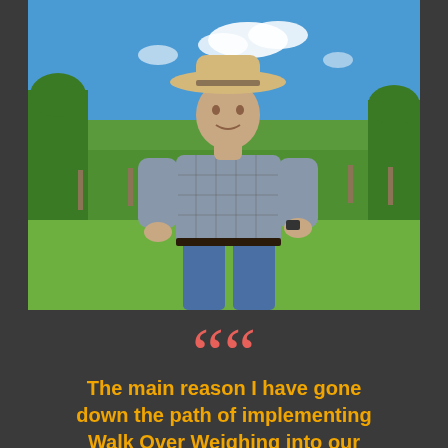[Figure (photo): A man wearing a wide-brimmed hat and a plaid short-sleeve shirt stands on green grass with a blue sky and green trees in the background. He appears to be on a rural farm or cattle property.]
““
The main reason I have gone down the path of implementing Walk Over Weighing into our